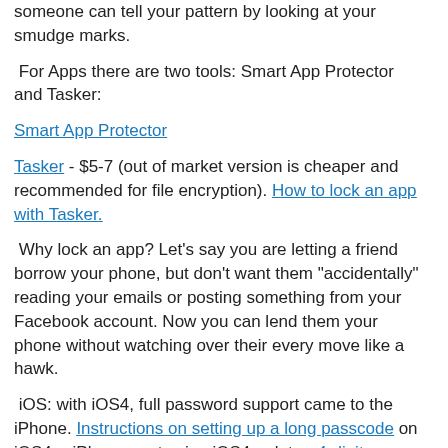someone can tell your pattern by looking at your smudge marks.
For Apps there are two tools: Smart App Protector and Tasker:
Smart App Protector
Tasker - $5-7 (out of market version is cheaper and recommended for file encryption). How to lock an app with Tasker.
Why lock an app? Let's say you are letting a friend borrow your phone, but don't want them "accidentally" reading your emails or posting something from your Facebook account. Now you can lend them your phone without watching over their every move like a hawk.
iOS: with iOS4, full password support came to the iPhone. Instructions on setting up a long passcode on iOS4 -- iPhones not using iOS4 or later: 4-digit Passcode video